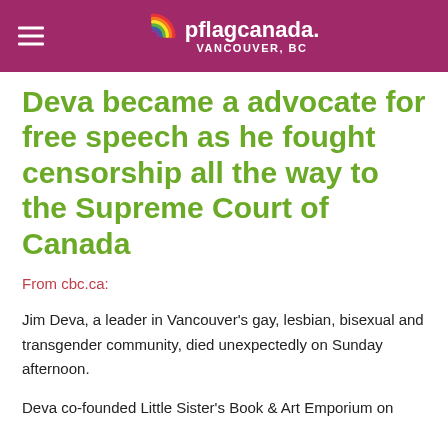pflagcanada. VANCOUVER, BC
Deva became a advocate for free speech as he fought censorship all the way to the Supreme Court of Canada
From cbc.ca:
Jim Deva, a leader in Vancouver's gay, lesbian, bisexual and transgender community, died unexpectedly on Sunday afternoon.
Deva co-founded Little Sister's Book & Art Emporium on